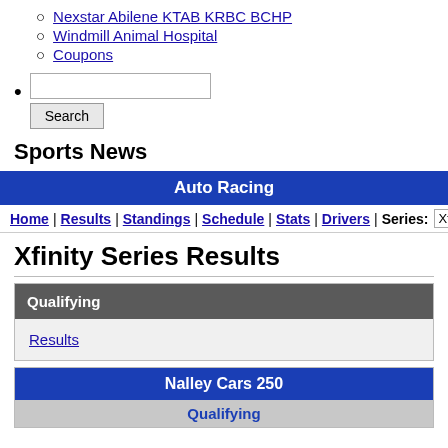Nexstar Abilene KTAB KRBC BCHP
Windmill Animal Hospital
Coupons
Search input and button
Sports News
Auto Racing
Home | Results | Standings | Schedule | Stats | Drivers | Series: Xfinity
Xfinity Series Results
Qualifying
Results
Nalley Cars 250
Qualifying